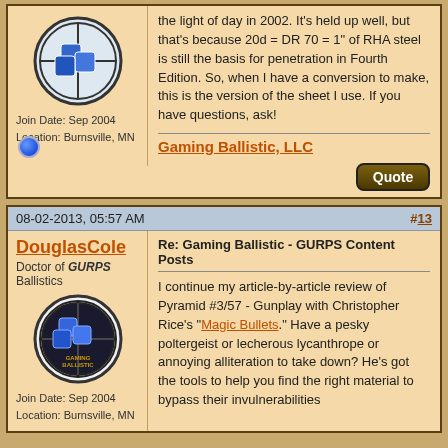the light of day in 2002. It's held up well, but that's because 20d = DR 70 = 1" of RHA steel is still the basis for penetration in Fourth Edition. So, when I have a conversion to make, this is the version of the sheet I use. If you have questions, ask!
Gaming Ballistic, LLC
08-02-2013, 05:57 AM #13
DouglasCole
Doctor of GURPS Ballistics
Join Date: Sep 2004
Location: Burnsville, MN
Re: Gaming Ballistic - GURPS Content Posts

I continue my article-by-article review of Pyramid #3/57 - Gunplay with Christopher Rice's "Magic Bullets." Have a pesky poltergeist or lecherous lycanthrope or annoying alliteration to take down? He's got the tools to help you find the right material to bypass their invulnerabilities